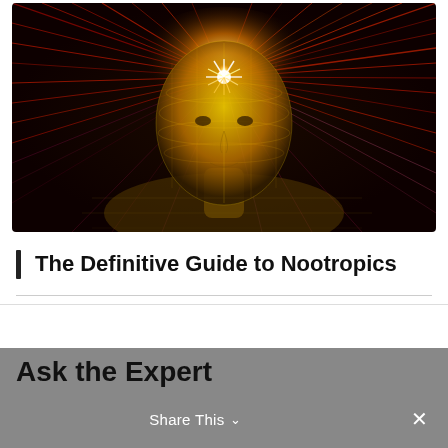[Figure (illustration): Digital art of a glowing golden wireframe human head/bust with radiating colorful light streaks bursting outward from the top of the skull, on a dark background. Red and orange rays extend in all directions.]
The Definitive Guide to Nootropics
Ask the Expert